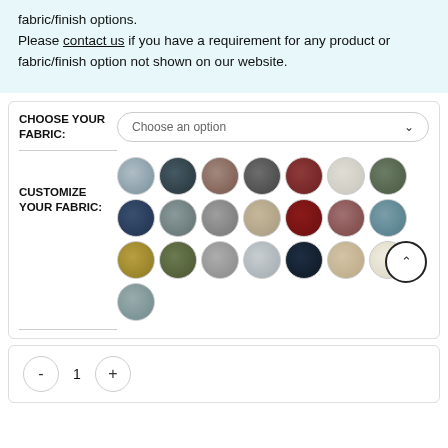fabric/finish options.
Please contact us if you have a requirement for any product or fabric/finish option not shown on our website.
CHOOSE YOUR FABRIC:
Choose an option
CUSTOMIZE YOUR FABRIC:
[Figure (infographic): Grid of 22 circular fabric swatches in various colors including gray, navy, brown, dark gray, burgundy, cream, olive, slate blue, tan, dark red, mauve, teal, gold, sage, charcoal, dark navy, beige, and off-white]
- 1 +